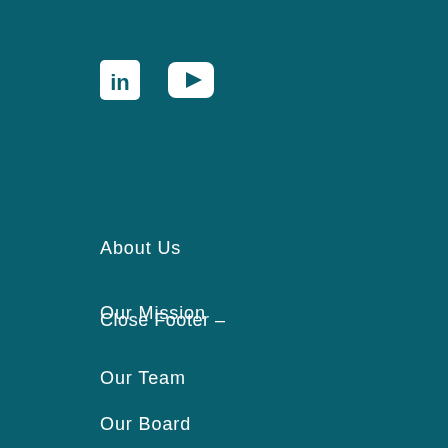[Figure (logo): LinkedIn icon (white 'in' logo) and YouTube play button icon (white rounded square with triangle) on teal background]
Close Footer –
About Us
Our Mission
Our Team
Our Board